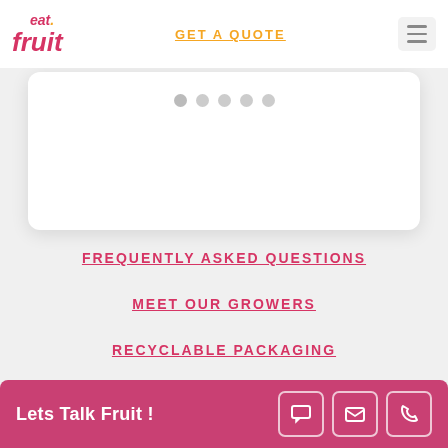[Figure (logo): eat.fruit logo in pink/red cursive with yellow dot]
GET A QUOTE
[Figure (other): Hamburger menu icon]
[Figure (other): White card/slider area with pagination dots (5 dots)]
FREQUENTLY ASKED QUESTIONS
MEET OUR GROWERS
RECYCLABLE PACKAGING
Lets Talk Fruit !
[Figure (other): Chat, email, and phone icon buttons in bottom bar]